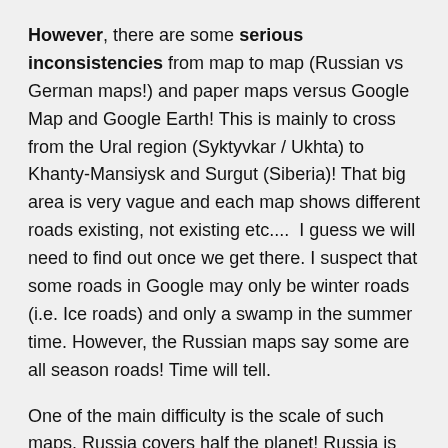However, there are some serious inconsistencies from map to map (Russian vs German maps!) and paper maps versus Google Map and Google Earth! This is mainly to cross from the Ural region (Syktyvkar / Ukhta) to Khanty-Mansiysk and Surgut (Siberia)! That big area is very vague and each map shows different roads existing, not existing etc....  I guess we will need to find out once we get there. I suspect that some roads in Google may only be winter roads (i.e. Ice roads) and only a swamp in the summer time. However, the Russian maps say some are all season roads! Time will tell.
One of the main difficulty is the scale of such maps. Russia covers half the planet! Russia is 17m square kilometres (Canada 9.9m, USA 9.8m) Europe is 3.9m!
If we compare with France, the biggest country in Europe, vs Russia, France is.... 249,000 kms.....  70 time smaller.... Imagine crossing France 70 times.... Ok we won't cross ALL of Russia, but